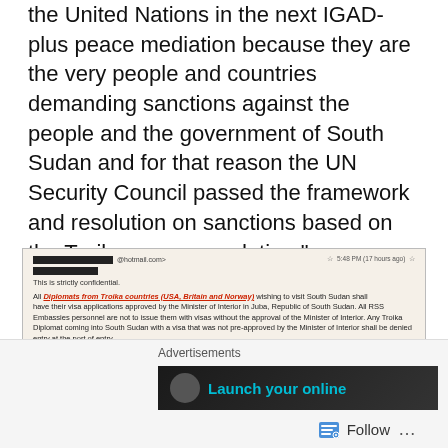the United Nations in the next IGAD-plus peace mediation because they are the very people and countries demanding sanctions against the people and the government of South Sudan and for that reason the UN Security Council passed the framework and resolution on sanctions based on the Troika recommendation," government spokesperson Michael Makuei said on Tuesday.
[Figure (screenshot): Screenshot of an email with redacted sender from a hotmail.com address, timestamped 5:48 PM (17 hours ago). Marked 'This is strictly confidential.' Body states that all Diplomats from Troika countries (USA, Britain and Norway) wishing to visit South Sudan shall have their visa applications approved by the Minister of Interior in Juba, Republic of South Sudan. All RSS Embassies personnel are not to issue them with visas without the approval of the Minister of Interior. Any Troika Diplomat coming into South Sudan with a visa that was not pre-approved by the Minister of Interior shall be denied entry at the port of entry. This directive is effective from 30th March 2015. If you know of any Diplomat given a visa after that date then you need to get in touch with them before they travel.]
Advertisements
[Figure (screenshot): Advertisement banner showing 'Launch your online' text in teal on dark background]